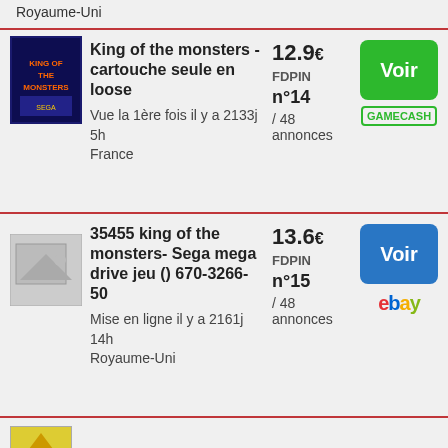Royaume-Uni
[Figure (photo): King of the Monsters game cartridge cover art thumbnail]
King of the monsters - cartouche seule en loose
Vue la 1ère fois il y a 2133j 5h
France
12.9€
FDPIN
n°14 / 48 annonces
[Figure (logo): Voir button green]
[Figure (logo): GAMECASH badge]
[Figure (photo): No image placeholder thumbnail]
35455 king of the monsters- Sega mega drive jeu () 670-3266-50
Mise en ligne il y a 2161j 14h
Royaume-Uni
13.6€
FDPIN
n°15 / 48 annonces
[Figure (logo): Voir button blue]
[Figure (logo): eBay logo]